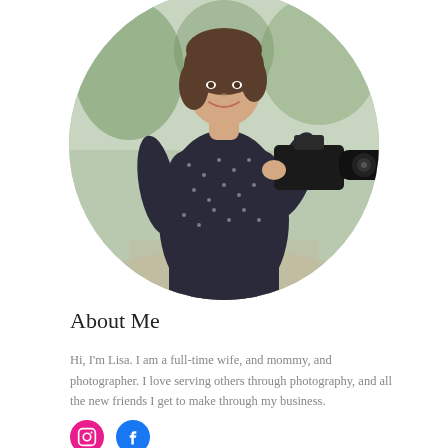[Figure (photo): Circular cropped photo of a smiling woman in a dark polka-dot dress holding a large DSLR camera with a long lens, standing outdoors with greenery in the background.]
About Me
Hi, I'm Lisa. I am a full-time wife, and mommy, and photographer. I love serving others through photography, and all the new friends I get to make through my business.
[Figure (illustration): Two social media icons: Instagram (pink circle with camera icon) and Facebook (blue circle with f logo).]